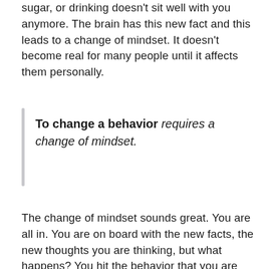sugar, or drinking doesn't sit well with you anymore. The brain has this new fact and this leads to a change of mindset. It doesn't become real for many people until it affects them personally.
To change a behavior requires a change of mindset.
The change of mindset sounds great. You are all in. You are on board with the new facts, the new thoughts you are thinking, but what happens? You hit the behavior that you are suppose to change and you realize you don't want to change. Why? Because you REALLY DO want to change. The reason you don't make the behavior